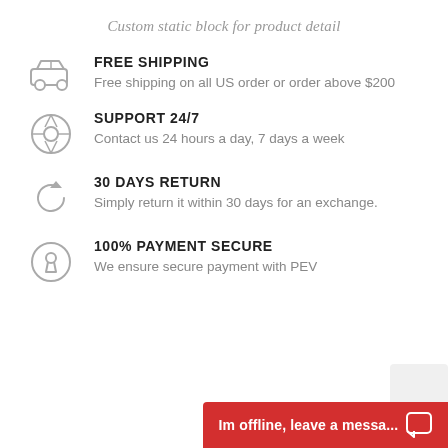Custom static block for product detail
FREE SHIPPING
Free shipping on all US order or order above $200
SUPPORT 24/7
Contact us 24 hours a day, 7 days a week
30 DAYS RETURN
Simply return it within 30 days for an exchange.
100% PAYMENT SECURE
We ensure secure payment with PEV
Im offline, leave a messa...